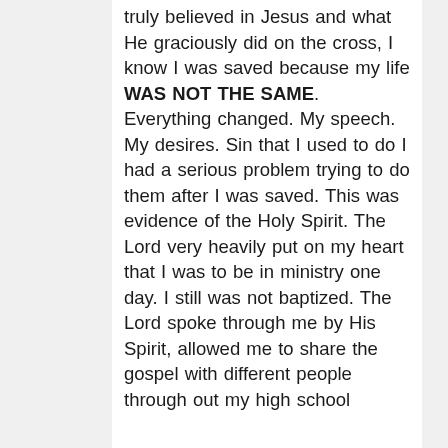truly believed in Jesus and what He graciously did on the cross, I know I was saved because my life WAS NOT THE SAME. Everything changed. My speech. My desires. Sin that I used to do I had a serious problem trying to do them after I was saved. This was evidence of the Holy Spirit. The Lord very heavily put on my heart that I was to be in ministry one day. I still was not baptized. The Lord spoke through me by His Spirit, allowed me to share the gospel with different people through out my high school